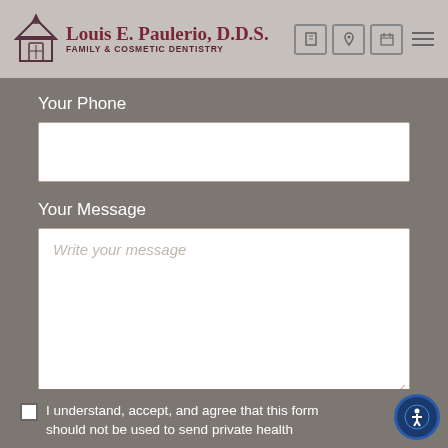Louis E. Paulerio, D.D.S. FAMILY & COSMETIC DENTISTRY
Your Phone
Your Message
Write your message
I understand, accept, and agree that this form should not be used to send private health